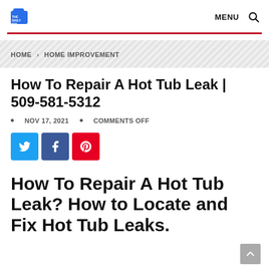THE DAILY DIX | MENU 🔍
HOME > HOME IMPROVEMENT
How To Repair A Hot Tub Leak | 509-581-5312
NOV 17, 2021  •  COMMENTS OFF
[Figure (infographic): Three social media share buttons: Twitter (light blue), Facebook (dark blue), Pinterest (red)]
How To Repair A Hot Tub Leak? How to Locate and Fix Hot Tub Leaks.